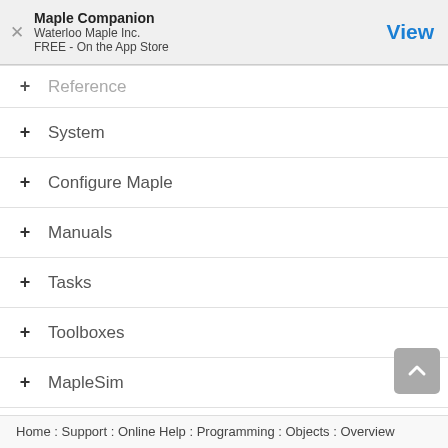Maple Companion
Waterloo Maple Inc.
FREE - On the App Store
Reference
System
Configure Maple
Manuals
Tasks
Toolboxes
MapleSim
MapleSim Toolboxes
Home : Support : Online Help : Programming : Objects : Overview